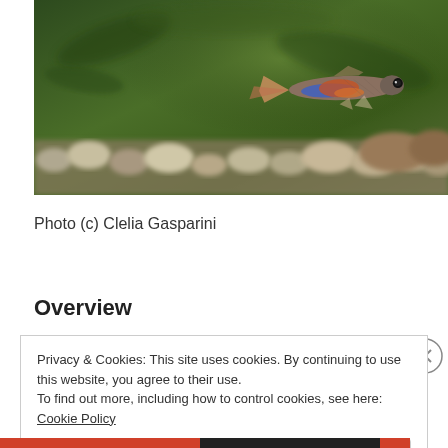[Figure (photo): A guppy fish swimming in an aquarium with pebbles/gravel at the bottom and green blurred background. The fish has colorful iridescent markings — blue, orange, and red with striped patterns on the tail.]
Photo (c) Clelia Gasparini
Overview
Privacy & Cookies: This site uses cookies. By continuing to use this website, you agree to their use.
To find out more, including how to control cookies, see here: Cookie Policy
Close and accept